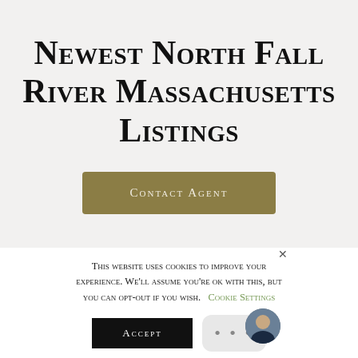Newest North Fall River Massachusetts Listings
Contact Agent
This website uses cookies to improve your experience. We'll assume you're ok with this, but you can opt-out if you wish. Cookie Settings
Accept